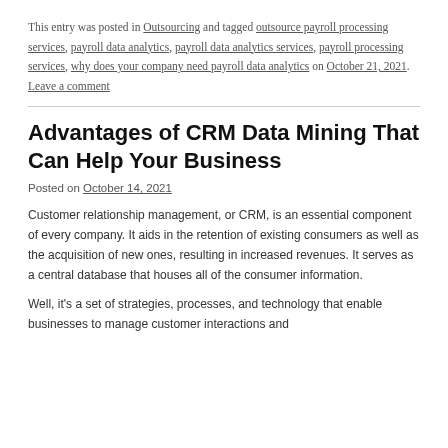This entry was posted in Outsourcing and tagged outsource payroll processing services, payroll data analytics, payroll data analytics services, payroll processing services, why does your company need payroll data analytics on October 21, 2021. Leave a comment
Advantages of CRM Data Mining That Can Help Your Business
Posted on October 14, 2021
Customer relationship management, or CRM, is an essential component of every company. It aids in the retention of existing consumers as well as the acquisition of new ones, resulting in increased revenues. It serves as a central database that houses all of the consumer information.
Well, it's a set of strategies, processes, and technology that enable businesses to manage customer interactions and…